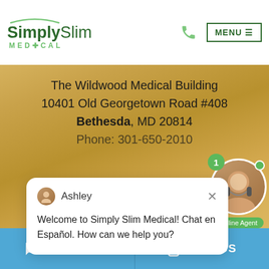[Figure (screenshot): Simply Slim Medical website screenshot with header logo, navigation menu button, phone icon, address section, live chat popup from Ashley, agent bubble, and bottom action bar]
Simply Slim Medical — MENU
The Wildwood Medical Building
10401 Old Georgetown Road #408
Bethesda, MD 20814
Phone: 301-650-2010
Ashley
Welcome to Simply Slim Medical! Chat en Español. How can we help you?
VIRGINIA OFFICE
Online Agent
LIVE CHAT   TEXT US